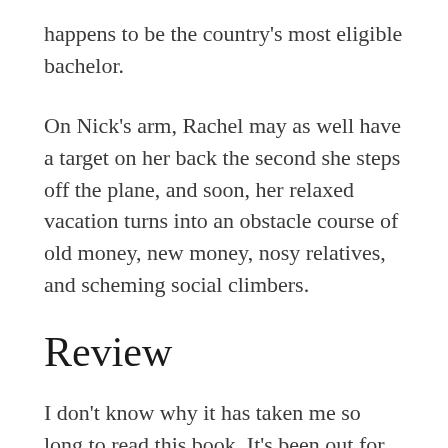happens to be the country’s most eligible bachelor.
On Nick’s arm, Rachel may as well have a target on her back the second she steps off the plane, and soon, her relaxed vacation turns into an obstacle course of old money, new money, nosy relatives, and scheming social climbers.
Review
I don’t know why it has taken me so long to read this book. It’s been out for five years and I have